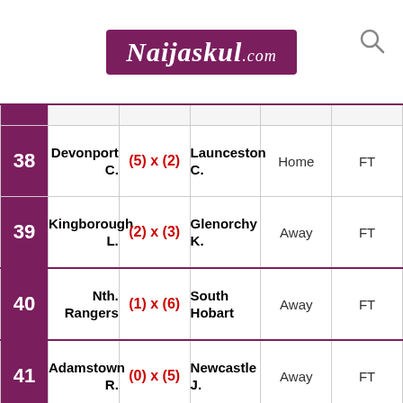[Figure (logo): Naijaskul.com logo on purple background with search icon]
| # | Home Team | Score | Away Team | H/A | Status |
| --- | --- | --- | --- | --- | --- |
| 38 | Devonport C. | (5) x (2) | Launceston C. | Home | FT |
| 39 | Kingborough L. | (2) x (3) | Glenorchy K. | Away | FT |
| 40 | Nth. Rangers | (1) x (6) | South Hobart | Away | FT |
| 41 | Adamstown R. | (0) x (5) | Newcastle J. | Away | FT |
| 42 | Edgeworth E. | (2) x (1) | South Cardiff | Home | FT |